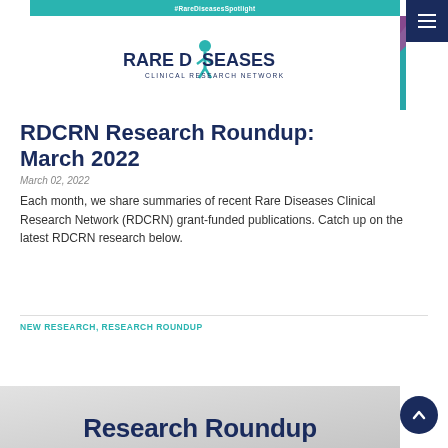[Figure (logo): Rare Diseases Clinical Research Network logo with teal hashtag banner #RareDiseasesSpotlight, decorative colored triangles (teal, purple, navy) in top right corner, and hamburger menu button]
RDCRN Research Roundup: March 2022
March 02, 2022
Each month, we share summaries of recent Rare Diseases Clinical Research Network (RDCRN) grant-funded publications. Catch up on the latest RDCRN research below.
NEW RESEARCH, RESEARCH ROUNDUP
[Figure (screenshot): Bottom of page showing partial 'Research Roundup' text in dark blue on a light grey background, with a scroll-to-top circular button in dark navy]